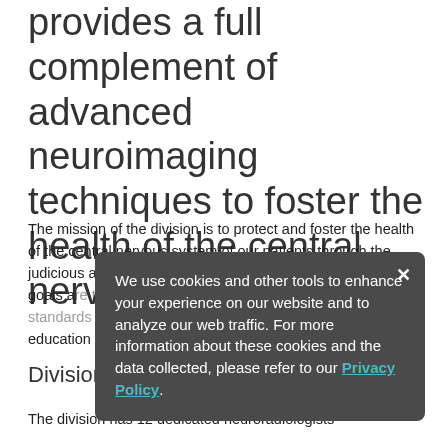provides a full complement of advanced neuroimaging techniques to foster the health of the central nervous system.
The mission of the division is to protect and foster the health of the central nervous system of our patients through the judicious application of imaging technology. The division's goals a[re to improve diagnostic accuracy and to develop best standards of practice, through] scientific research and the education of students, residents, fellows and practitioners.
Division Radiologists
The division has 12 dedicated neuroradiologists—
We use cookies and other tools to enhance your experience on our website and to analyze our web traffic. For more information about these cookies and the data collected, please refer to our Privacy Policy.